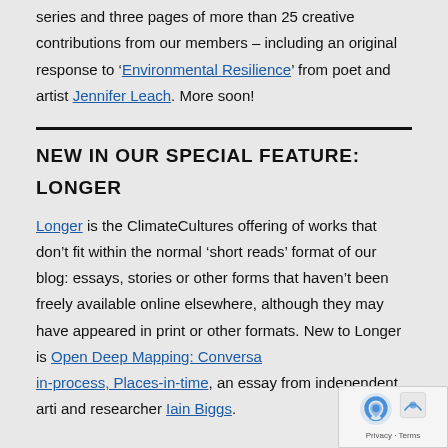series and three pages of more than 25 creative contributions from our members – including an original response to 'Environmental Resilience' from poet and artist Jennifer Leach. More soon!
NEW IN OUR SPECIAL FEATURE: LONGER
Longer is the ClimateCultures offering of works that don't fit within the normal 'short reads' format of our blog: essays, stories or other forms that haven't been freely available online elsewhere, although they may have appeared in print or other formats. New to Longer is Open Deep Mapping: Conversa… in-process, Places-in-time, an essay from independent arti… and researcher Iain Biggs.